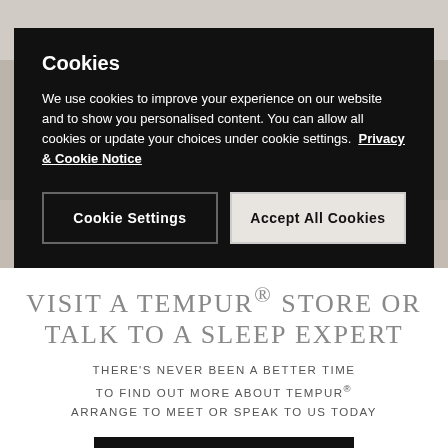[Figure (photo): Background photo of a bedroom/store interior in muted tones]
Cookies
We use cookies to improve your experience on our website and to show you personalised content. You can allow all cookies or update your choices under cookie settings.  Privacy & Cookie Notice
Cookie Settings
Accept All Cookies
VISIT A TEMPUR® STORE OR TALK TO A SLEEP EXPERT
THERE'S NEVER BEEN A BETTER TIME TO FIND OUT MORE ABOUT TEMPUR® ARRANGE TO MEET OR SPEAK TO US TODAY
VISIT A TEMPUR® STORE